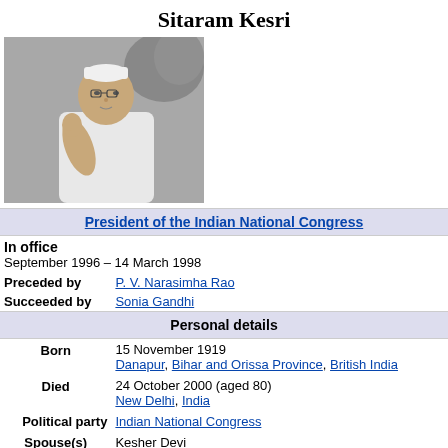Sitaram Kesri
[Figure (photo): Black and white photo of Sitaram Kesri wearing white cap and white clothes, gesturing with his hand]
| President of the Indian National Congress |
| In office |  |
| September 1996 – 14 March 1998 |  |
| Preceded by | P. V. Narasimha Rao |
| Succeeded by | Sonia Gandhi |
| Personal details |  |
| Born | 15 November 1919
Danapur, Bihar and Orissa Province, British India |
| Died | 24 October 2000 (aged 80)
New Delhi, India |
| Political party | Indian National Congress |
| Spouse(s) | Kesher Devi |
| Children | 1 son |